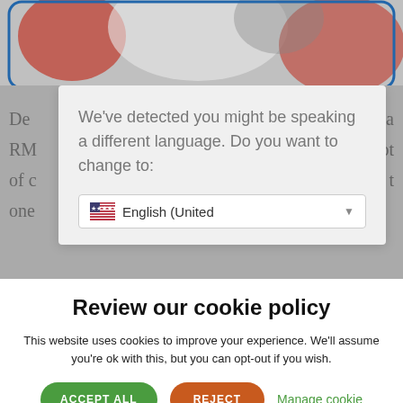[Figure (screenshot): Blurred webpage background showing partial text 'De... RM... of... on...' in gray with red/white floral image at top]
We've detected you might be speaking a different language. Do you want to change to:
English (United [dropdown]
Review our cookie policy
This website uses cookies to improve your experience. We'll assume you're ok with this, but you can opt-out if you wish.
ACCEPT ALL
REJECT
Manage cookie
consent
Cookie Policy